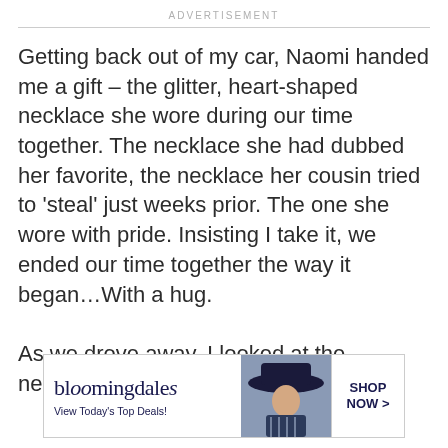ADVERTISEMENT
Getting back out of my car, Naomi handed me a gift – the glitter, heart-shaped necklace she wore during our time together. The necklace she had dubbed her favorite, the necklace her cousin tried to 'steal' just weeks prior. The one she wore with pride. Insisting I take it, we ended our time together the way it began…With a hug.

As we drove away, I looked at the necklace
[Figure (screenshot): Bloomingdale's advertisement banner: logo on left reading 'bloomingdales' with tagline 'View Today's Top Deals!', a woman in a wide-brim hat in the center, and a 'SHOP NOW >' button on the right.]